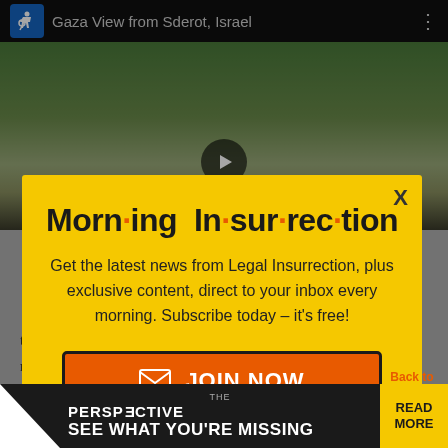[Figure (screenshot): Video thumbnail showing 'Gaza View from Sderot, Israel' with landscape background and play button]
the conflict — Israel trying to facilitate the movement of goods, Hamas and other groups... and "human rights" groups claiming Israel makes it
[Figure (screenshot): Modal popup newsletter signup for 'Morning Insurrection' on yellow background with JOIN NOW button]
[Figure (screenshot): Bottom advertisement banner: 'THE PERSPECTIVE - SEE WHAT YOU'RE MISSING - READ MORE']